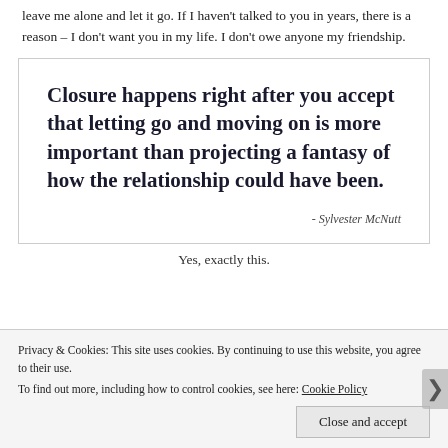leave me alone and let it go. If I haven't talked to you in years, there is a reason – I don't want you in my life. I don't owe anyone my friendship.
[Figure (other): Quote box with bold serif text reading: 'Closure happens right after you accept that letting go and moving on is more important than projecting a fantasy of how the relationship could have been.' attributed to - Sylvester McNutt]
Yes, exactly this.
Privacy & Cookies: This site uses cookies. By continuing to use this website, you agree to their use.
To find out more, including how to control cookies, see here: Cookie Policy